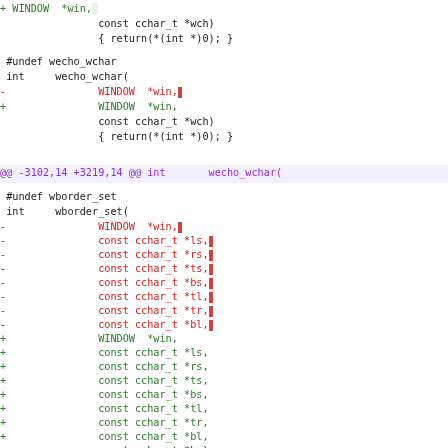Code diff showing changes to WINDOW *win, parameters in wecho_wchar and wborder_set functions
[Figure (screenshot): Source code diff showing removed (red -) and added (green +) lines for WINDOW *win parameter changes in wecho_wchar and wborder_set C functions]